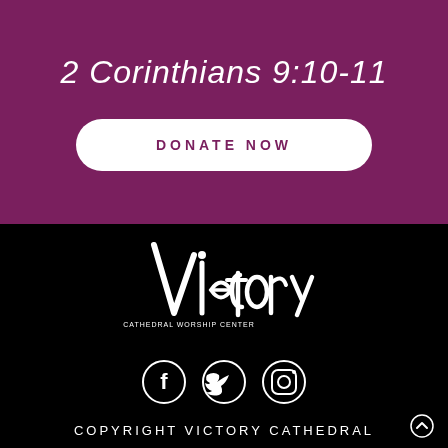2 Corinthians 9:10-11
DONATE NOW
[Figure (logo): Victory Cathedral Worship Center handwritten-style white logo on black background]
[Figure (infographic): Three social media icons: Facebook, Twitter, Instagram — white outlined circles on black background]
COPYRIGHT VICTORY CATHEDRAL